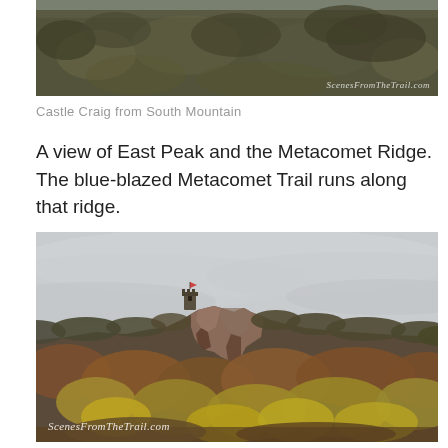[Figure (photo): Aerial/distant view of forested hillside with autumn trees, showing South Mountain ridge, partially cropped at top of page. Watermark reads 'ScenesFromTheTrail.com' in bottom right.]
Castle Craig from South Mountain
A view of East Peak and the Metacomet Ridge. The blue-blazed Metacomet Trail runs along that ridge.
[Figure (photo): Photograph of Castle Craig tower on East Peak / Metacomet Ridge, showing rocky cliff face with autumn foliage trees below against an overcast grey sky. Watermark reads 'ScenesFromTheTrail.com' in bottom left.]